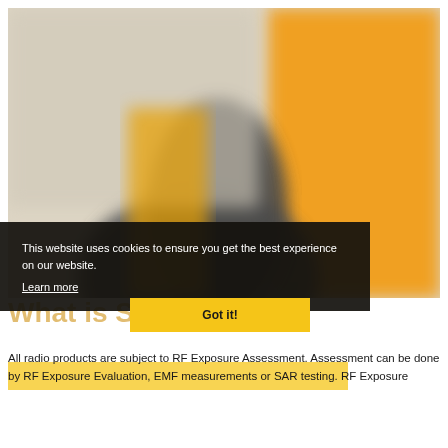[Figure (photo): Blurred laboratory/testing equipment photo with gray and orange/yellow tones, likely SAR testing equipment]
This website uses cookies to ensure you get the best experience on our website.
Learn more
Got it!
What is SAR testing?
All radio products are subject to RF Exposure Assessment. Assessment can be done by RF Exposure Evaluation, EMF measurements or SAR testing. RF Exposure